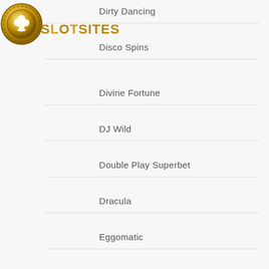[Figure (logo): SlotSites logo with gold coin and text]
Dirty Dancing
Disco Spins
Divine Fortune
DJ Wild
Double Play Superbet
Dracula
Eggomatic
Electric Sam
Emoticoins
Epic Ape
Esqueleto Explosivo